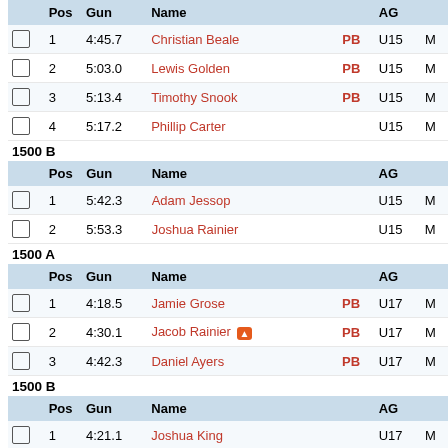|  | Pos | Gun | Name |  | AG |  |
| --- | --- | --- | --- | --- | --- | --- |
|  | 1 | 4:45.7 | Christian Beale | PB | U15 | M |
|  | 2 | 5:03.0 | Lewis Golden | PB | U15 | M |
|  | 3 | 5:13.4 | Timothy Snook | PB | U15 | M |
|  | 4 | 5:17.2 | Phillip Carter |  | U15 | M |
1500 B
|  | Pos | Gun | Name |  | AG |  |
| --- | --- | --- | --- | --- | --- | --- |
|  | 1 | 5:42.3 | Adam Jessop |  | U15 | M |
|  | 2 | 5:53.3 | Joshua Rainier |  | U15 | M |
1500 A
|  | Pos | Gun | Name |  | AG |  |
| --- | --- | --- | --- | --- | --- | --- |
|  | 1 | 4:18.5 | Jamie Grose | PB | U17 | M |
|  | 2 | 4:30.1 | Jacob Rainier 🔥 | PB | U17 | M |
|  | 3 | 4:42.3 | Daniel Ayers | PB | U17 | M |
1500 B
|  | Pos | Gun | Name |  | AG |  |
| --- | --- | --- | --- | --- | --- | --- |
|  | 1 | 4:21.1 | Joshua King |  | U17 | M |
|  | 2 | 5:06.1 | Ashraf Ould-Dada | SB | U17 | M |
1500 A
|  | Pos | Gun | Name |  | AG |  |
| --- | --- | --- | --- | --- | --- | --- |